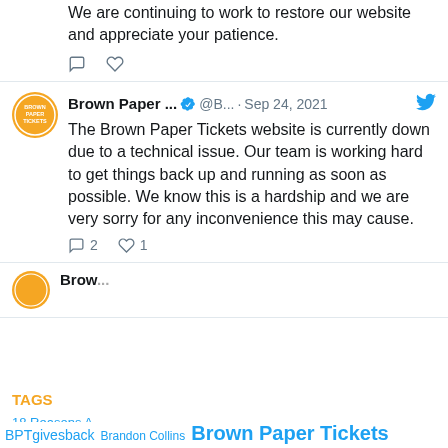We are continuing to work to restore our website and appreciate your patience.
Brown Paper ... @B... · Sep 24, 2021 — The Brown Paper Tickets website is currently down due to a technical issue. Our team is working hard to get things back up and running as soon as possible. We know this is a hardship and we are very sorry for any inconvenience this may cause. · 2 replies, 1 like
Brown Paper Tickets uses cookies to provide the best experience on our website. By continuing to use our site, you agree to our Cookie Policy and Privacy Policy. Cookie Settings Accept
TAGS
18 Reasons A... BPTgivesback Brandon Collins Brown Paper Tickets